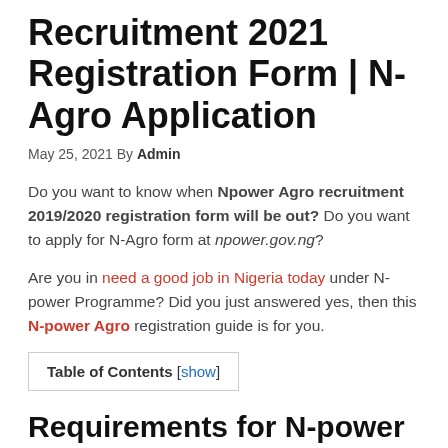Recruitment 2021 Registration Form | N-Agro Application
May 25, 2021 By Admin
Do you want to know when Npower Agro recruitment 2019/2020 registration form will be out? Do you want to apply for N-Agro form at npower.gov.ng?
Are you in need a good job in Nigeria today under N-power Programme? Did you just answered yes, then this N-power Agro registration guide is for you.
Table of Contents [show]
Requirements for N-power